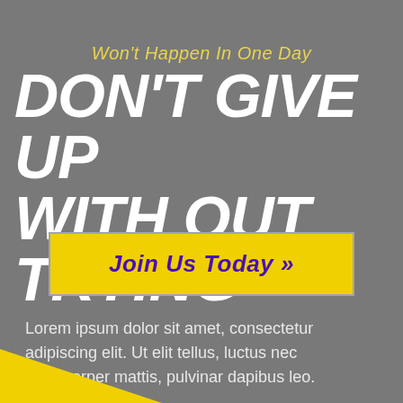Won't Happen In One Day
DON'T GIVE UP WITH OUT TRYING
Join Us Today »
Lorem ipsum dolor sit amet, consectetur adipiscing elit. Ut elit tellus, luctus nec ullamcorper mattis, pulvinar dapibus leo.